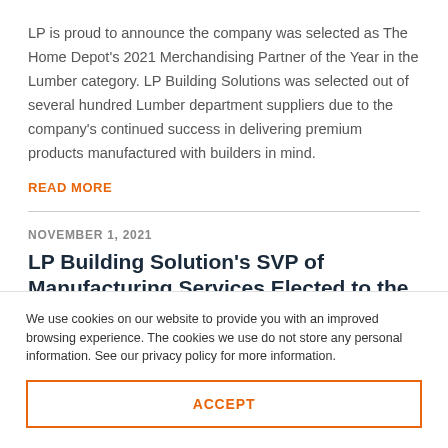LP is proud to announce the company was selected as The Home Depot's 2021 Merchandising Partner of the Year in the Lumber category. LP Building Solutions was selected out of several hundred Lumber department suppliers due to the company's continued success in delivering premium products manufactured with builders in mind.
READ MORE
NOVEMBER 1, 2021
LP Building Solution's SVP of Manufacturing Services Elected to the American Wood
We use cookies on our website to provide you with an improved browsing experience. The cookies we use do not store any personal information. See our privacy policy for more information.
ACCEPT